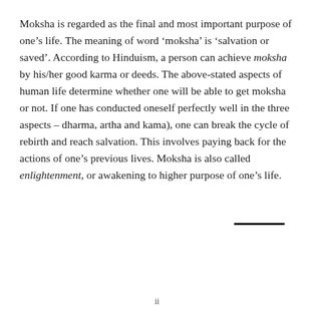Moksha is regarded as the final and most important purpose of one's life. The meaning of word 'moksha' is 'salvation or saved'. According to Hinduism, a person can achieve moksha by his/her good karma or deeds. The above-stated aspects of human life determine whether one will be able to get moksha or not. If one has conducted oneself perfectly well in the three aspects – dharma, artha and kama), one can break the cycle of rebirth and reach salvation. This involves paying back for the actions of one's previous lives. Moksha is also called enlightenment, or awakening to higher purpose of one's life.